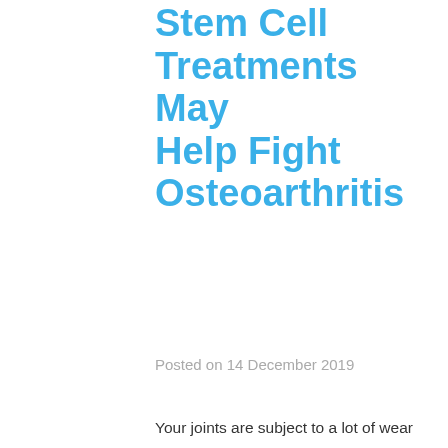Stem Cell Treatments May Help Fight Osteoarthritis
Posted on 14 December 2019
Your joints are subject to a lot of wear and tear throughout the years. Cartilage within the joints (especially the knees and ankles) can begin to break down over time. This loss of viable cartilage tissue is a major contributor to the chronic pain that accompanies osteoarthritis.
If you don't want to rely on prescription medications to help you manage your chronic